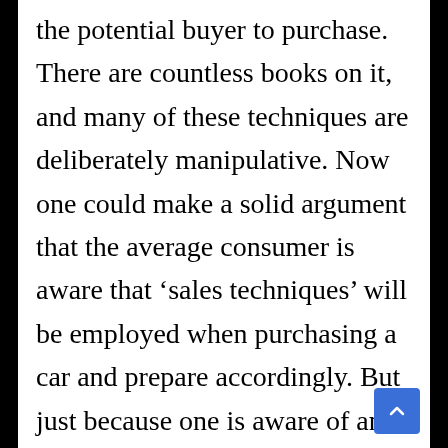the potential buyer to purchase. There are countless books on it, and many of these techniques are deliberately manipulative. Now one could make a solid argument that the average consumer is aware that ‘sales techniques’ will be employed when purchasing a car and prepare accordingly. But just because one is aware of an impending attack, does not mean one will successfully defend against it. It brings new clarity to the phrase… “let the buyer beware”. There is a reason why many people hate buying a new car, even if they really